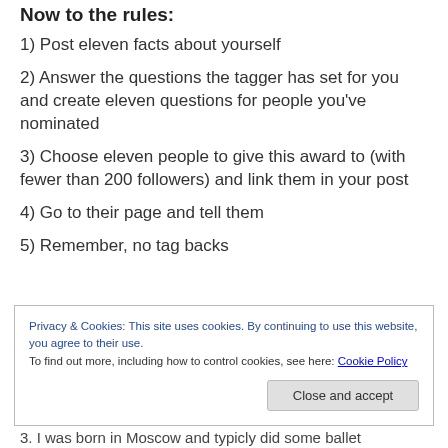Now to the rules:
1) Post eleven facts about yourself
2) Answer the questions the tagger has set for you and create eleven questions for people you've nominated
3) Choose eleven people to give this award to (with fewer than 200 followers) and link them in your post
4) Go to their page and tell them
5) Remember, no tag backs
Privacy & Cookies: This site uses cookies. By continuing to use this website, you agree to their use. To find out more, including how to control cookies, see here: Cookie Policy
3. I was born in Moscow and typicly did some ballet